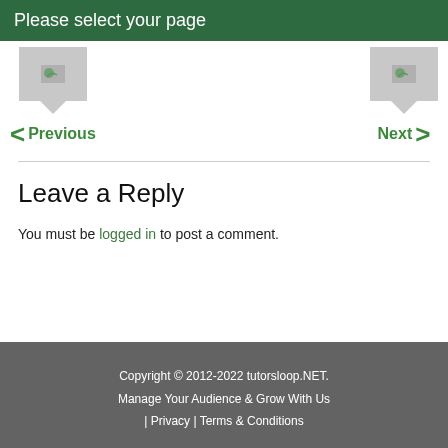Please select your page
[Figure (screenshot): Navigation thumbnails with Previous and Next arrows for page selection]
Leave a Reply
You must be logged in to post a comment.
Copyright © 2012-2022 tutorsloop.NET. Manage Your Audience & Grow With Us | Privacy | Terms & Conditions